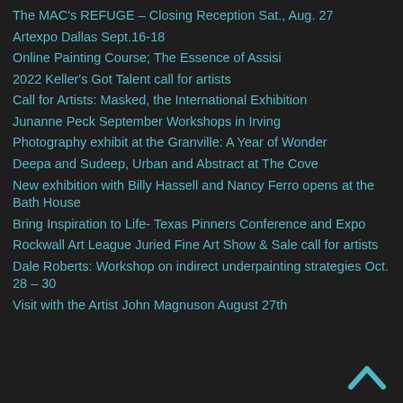The MAC's REFUGE – Closing Reception Sat., Aug. 27
Artexpo Dallas Sept.16-18
Online Painting Course; The Essence of Assisi
2022 Keller's Got Talent call for artists
Call for Artists: Masked, the International Exhibition
Junanne Peck September Workshops in Irving
Photography exhibit at the Granville: A Year of Wonder
Deepa and Sudeep, Urban and Abstract at The Cove
New exhibition with Billy Hassell and Nancy Ferro opens at the Bath House
Bring Inspiration to Life- Texas Pinners Conference and Expo
Rockwall Art League Juried Fine Art Show & Sale call for artists
Dale Roberts: Workshop on indirect underpainting strategies Oct. 28 – 30
Visit with the Artist John Magnuson August 27th